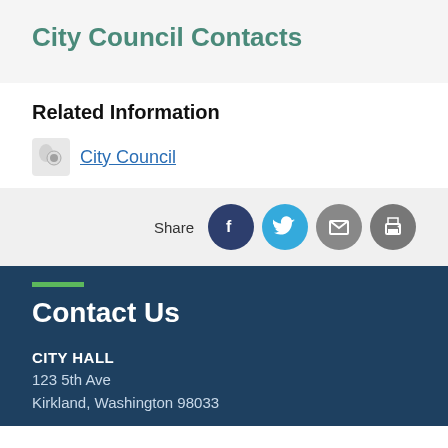City Council Contacts
Related Information
City Council
Share
[Figure (infographic): Share buttons: Facebook, Twitter, Email, Print]
[Figure (illustration): Green decorative bar]
Contact Us
CITY HALL
123 5th Ave
Kirkland, Washington 98033